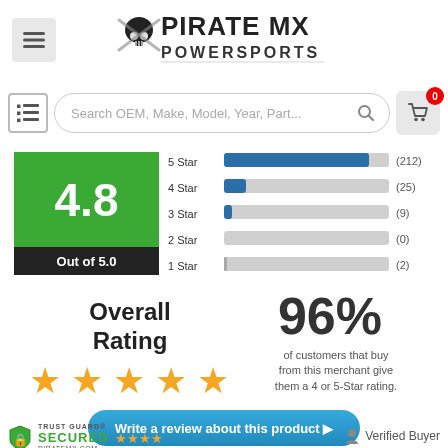[Figure (logo): PirateMX Powersports logo with skull graphic]
[Figure (screenshot): Search bar with text 'Search OEM, Make, Model, Year, Part...' and navigation icons]
[Figure (bar-chart): Star Rating Distribution]
4.8
Out of 5.0
Overall Rating
96%
of customers that buy from this merchant give them a 4 or 5-Star rating.
[Figure (infographic): 5 orange stars representing overall rating]
[Figure (other): Button: Write a review about this product]
[Figure (logo): Trust Guard Secured badge with piratemx.com and 4 orange stars]
Verified Buyer